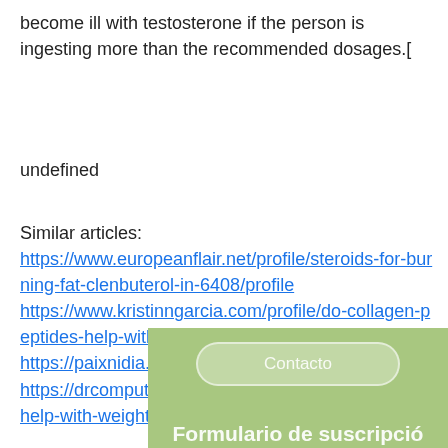become ill with testosterone if the person is ingesting more than the recommended dosages.[
undefined
Similar articles:
https://www.europeanflair.net/profile/steroids-for-burning-fat-clenbuterol-in-6408/profile
https://www.kristinngarcia.com/profile/do-collagen-peptides-help-with-weight-lo-5144/profile
https://paixnidia.eu/activity/p/10626/
https://drcomputer.co.uk/uncategorized/can-clomid-help-with-weight-loss-clomid-and-weight-loss-2/
[Figure (other): Green footer bar with a rounded button labeled 'Contacto' and partial text 'Formulario de suscripció' below it]